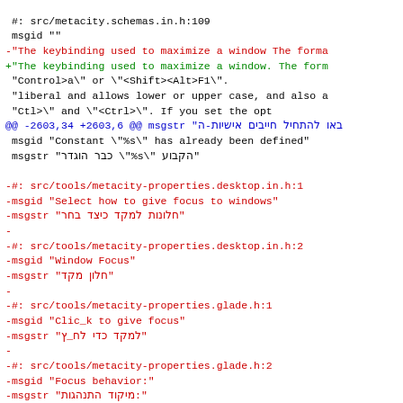diff/patch code showing changes to metacity localization files